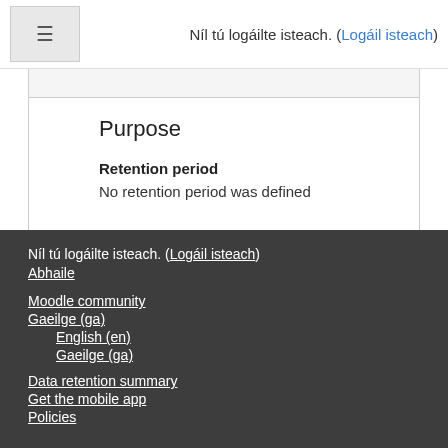Níl tú logáilte isteach. (Logáil isteach)
Purpose
Retention period
No retention period was defined
Níl tú logáilte isteach. (Logáil isteach)
Abhaile
Moodle community
Gaeilge (ga)
English (en)
Gaeilge (ga)
Data retention summary
Get the mobile app
Policies